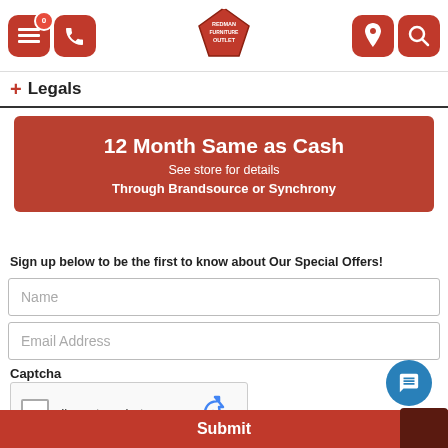Redman Furniture Outlet - navigation header with menu, phone, logo, location, search icons
+ Legals
[Figure (infographic): Red promotional banner: '12 Month Same as Cash - See store for details - Through Brandsource or Synchrony']
Sign up below to be the first to know about Our Special Offers!
Name
Email Address
Captcha
[Figure (other): reCAPTCHA widget with checkbox 'I'm not a robot' and reCAPTCHA logo, Privacy - Terms]
Submit